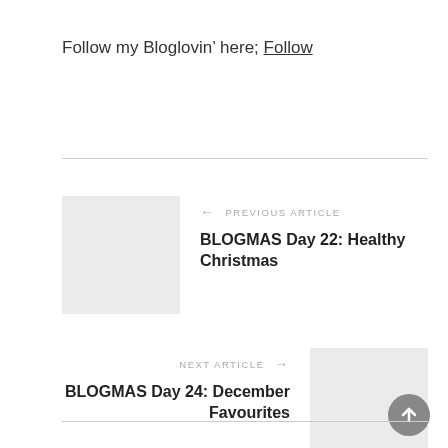Follow my Bloglovin’ here; Follow
PREVIOUS ARTICLE
BLOGMAS Day 22: Healthy Christmas
NEXT ARTICLE
BLOGMAS Day 24: December Favourites